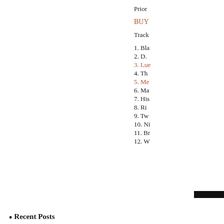Prior
BUY
Track
1. Bla
2. D.
3. Lue
4. Th
5. Me
6. Ma
7. His
8. Ri
9. Tw
10. Ni
11. Br
12. W
Recent Posts